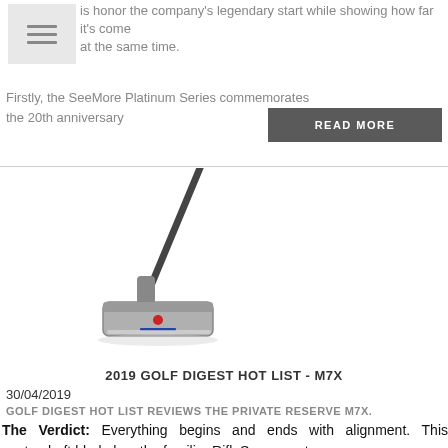is honor the company's legendary start while showing how far it's come at the same time.
Firstly, the SeeMore Platinum Series commemorates the 20th anniversary
READ MORE
[Figure (photo): A golf putter (M7X) shown at an angle with a dark shaft and silver/chrome head with a red alignment dot]
2019 GOLF DIGEST HOT LIST - M7X
30/04/2019
GOLF DIGEST HOT LIST REVIEWS THE PRIVATE RESERVE M7X.
The Verdict: Everything begins and ends with alignment. This centershaft blade has the familiar RifleScope system: